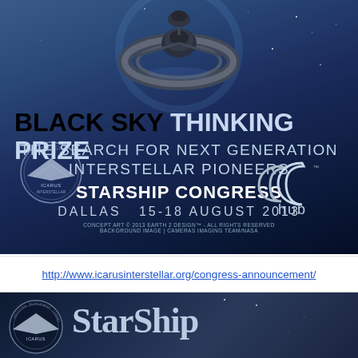[Figure (illustration): Dark blue space background with a spacecraft/space station rendered at top center. Large bold text 'BLACK SKY THINKING PRIZE' followed by 'THE SEARCH FOR NEXT GENERATION INTERSTELLAR PIONEERS'. Below: 'STARSHIP CONGRESS DALLAS 15-18 AUGUST 2013'. Icarus Interstellar logo bottom left, c2hub logo bottom right. Small copyright text at bottom center.]
http://www.icarusinterstellar.org/congress-announcement/
[Figure (illustration): Dark blue/black space background. Icarus Interstellar circular badge/logo on the left. Large serif text 'StarShip' in light blue/gray partially visible on the right.]